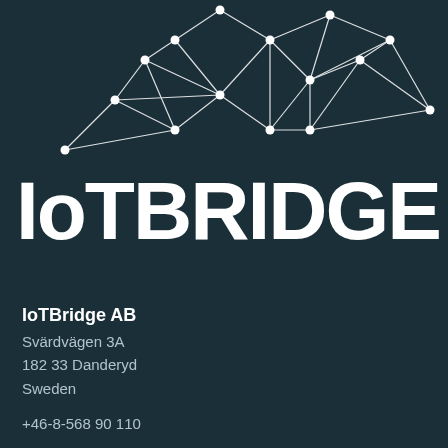[Figure (illustration): Abstract white network/mesh graphic with connected nodes and lines on dark teal background]
IoT BRIDGE
IoTBridge AB
Svärdvägen 3A
182 33 Danderyd
Sweden
+46-8-568 90 110